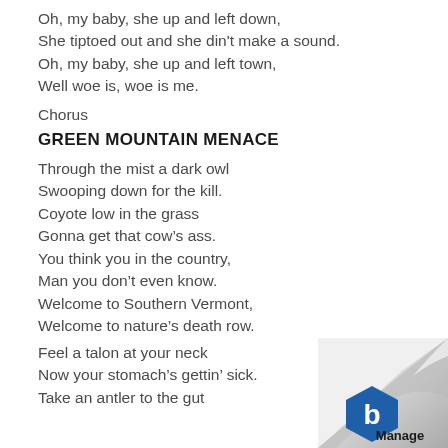Oh, my baby, she up and left down,
She tiptoed out and she din't make a sound.
Oh, my baby, she up and left town,
Well woe is, woe is me.
Chorus
GREEN MOUNTAIN MENACE
Through the mist a dark owl
Swooping down for the kill.
Coyote low in the grass
Gonna get that cow’s ass.
You think you in the country,
Man you don’t even know.
Welcome to Southern Vermont,
Welcome to nature’s death row.
Feel a talon at your neck
Now your stomach’s gettin’ sick.
Take an antler to the gut
[Figure (logo): Page corner curl with Manage logo (blue hexagon with 'b' letter and 'Manage' text)]